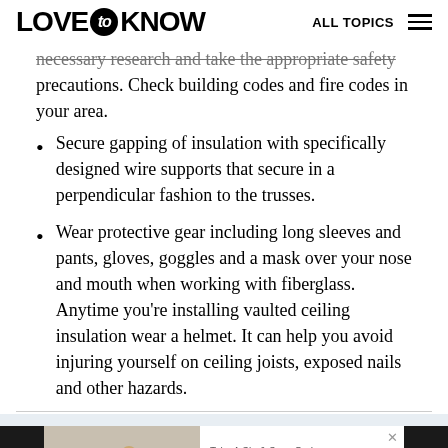LOVE to KNOW   ALL TOPICS
necessary research and take the appropriate safety precautions. Check building codes and fire codes in your area.
Secure gapping of insulation with specifically designed wire supports that secure in a perpendicular fashion to the trusses.
Wear protective gear including long sleeves and pants, gloves, goggles and a mask over your nose and mouth when working with fiberglass. Anytime you're installing vaulted ceiling insulation wear a helmet. It can help you avoid injuring yourself on ceiling joists, exposed nails and other hazards.
[Figure (photo): Advertisement banner: LoveToKnow x PAKT promotion with woman sitting on couch, tagline 'Take A Sip & Save On Insurance']